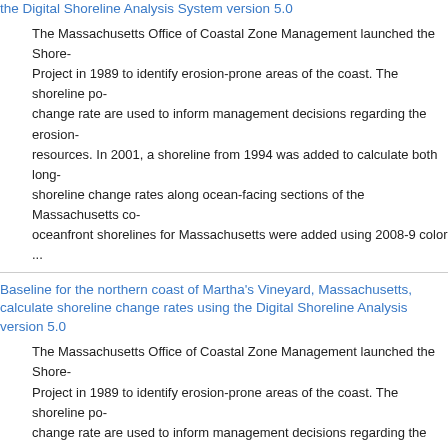the Digital Shoreline Analysis System version 5.0
The Massachusetts Office of Coastal Zone Management launched the Shore Project in 1989 to identify erosion-prone areas of the coast. The shoreline po- change rate are used to inform management decisions regarding the erosion resources. In 2001, a shoreline from 1994 was added to calculate both long- shoreline change rates along ocean-facing sections of the Massachusetts co- oceanfront shorelines for Massachusetts were added using 2008-9 color ...
Baseline for the northern coast of Martha's Vineyard, Massachusetts, calculate shoreline change rates using the Digital Shoreline Analysis version 5.0
The Massachusetts Office of Coastal Zone Management launched the Shore Project in 1989 to identify erosion-prone areas of the coast. The shoreline po- change rate are used to inform management decisions regarding the erosion resources. In 2001, a shoreline from 1994 was added to calculate both long- shoreline change rates along ocean-facing sections of the Massachusetts co- oceanfront shorelines for Massachusetts were added using 2008-9 color ...
Baseline for the southern coast Martha's Vineyard, Massachusetts, ge- calculate shoreline change rates using the Digital Shoreline Analysis version 5.0
The Massachusetts Office of Coastal Zone Management launched the Shore Project in 1989 to identify erosion-prone areas of the coast. The shoreline po- change rate are used to inform management decisions regarding the erosion resources. In 2001, a shoreline from 1994 was added to calculate both long- shoreline change rates along ocean-facing sections of the Massachusetts...